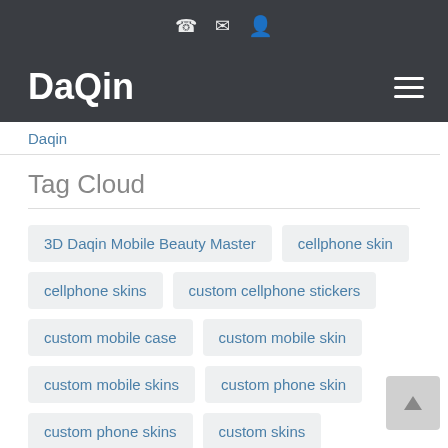DaQin [navigation with phone, mail, user icons and hamburger menu]
Daqin
Tag Cloud
3D Daqin Mobile Beauty Master
cellphone skin
cellphone skins
custom cellphone stickers
custom mobile case
custom mobile skin
custom mobile skins
custom phone skin
custom phone skins
custom skins